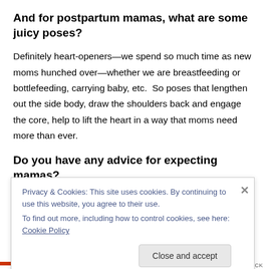And for postpartum mamas, what are some juicy poses?
Definitely heart-openers—we spend so much time as new moms hunched over—whether we are breastfeeding or bottlefeeding, carrying baby, etc.  So poses that lengthen out the side body, draw the shoulders back and engage the core, help to lift the heart in a way that moms need more than ever.
Do you have any advice for expecting mamas?
Privacy & Cookies: This site uses cookies. By continuing to use this website, you agree to their use.
To find out more, including how to control cookies, see here: Cookie Policy